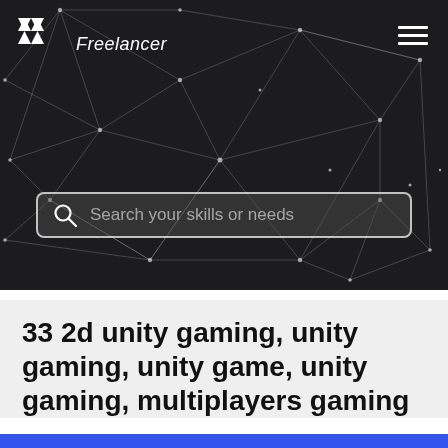[Figure (screenshot): Freelancer website hero section with dark network/polygon background, Freelancer logo top-left, hamburger menu top-right, and a search bar with placeholder text 'Search your skills or needs']
33 2d unity gaming, unity gaming, unity game, unity gaming, multiplayers gaming